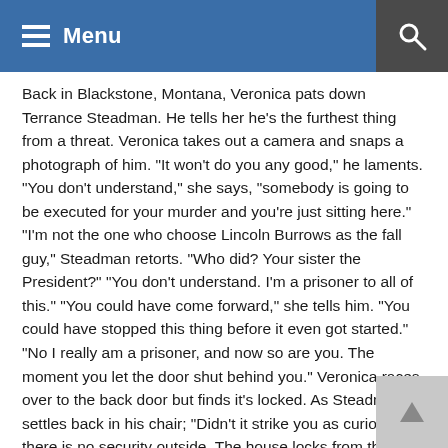Menu
Back in Blackstone, Montana, Veronica pats down Terrance Steadman. He tells her he’s the furthest thing from a threat. Veronica takes out a camera and snaps a photograph of him. “It won’t do you any good,” he laments. “You don’t understand,” she says, “somebody is going to be executed for your murder and you’re just sitting here.” “I’m not the one who choose Lincoln Burrows as the fall guy,” Steadman retorts. “Who did? Your sister the President?” “You don’t understand. I’m a prisoner to all of this.” “You could have come forward,” she tells him. “You could have stopped this thing before it even got started.” “No I really am a prisoner, and now so are you. The moment you let the door shut behind you.” Veronica races over to the back door but finds it’s locked. As Steadman settles back in his chair; “Didn’t it strike you as curious that there is no security outside. The house locks from the outside. Glass is two inches thick and bullet proof. There is no getting out of here young woman.”
Michael and Lincoln sit on a dock, taking a short moment apart from the rest of the cons, who glare on from a distance with untrusting eyes. Lincoln wants to dump the rest of the cons but